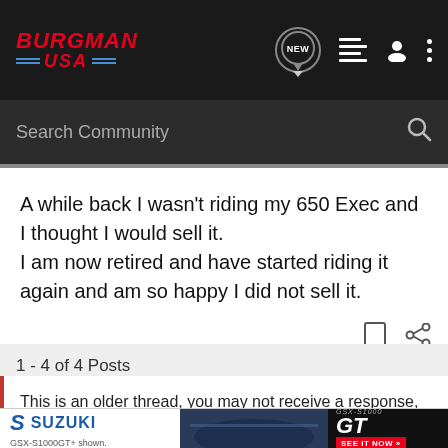BURGMAN USA
Search Community
A while back I wasn't riding my 650 Exec and I thought I would sell it.
I am now retired and have started riding it again and am so happy I did not sell it.
1 - 4 of 4 Posts
This is an older thread, you may not receive a response, and could be reviving an old thread. Please consider creating a new thread.
[Figure (screenshot): Suzuki GSX-S1000 GT advertisement banner]